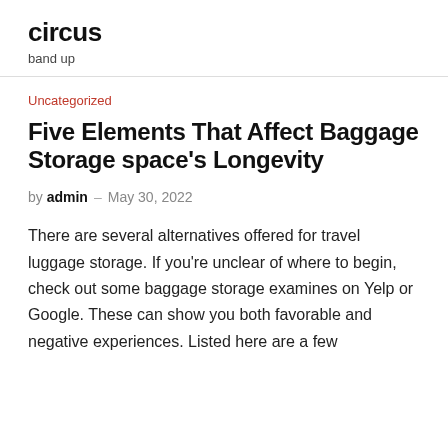circus
band up
Uncategorized
Five Elements That Affect Baggage Storage space's Longevity
by admin – May 30, 2022
There are several alternatives offered for travel luggage storage. If you're unclear of where to begin, check out some baggage storage examines on Yelp or Google. These can show you both favorable and negative experiences. Listed here are a few suggestions for how to get the most from